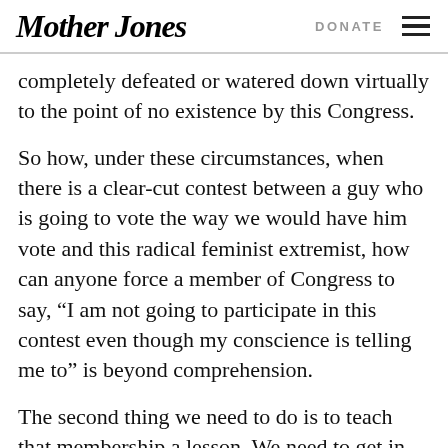Mother Jones | DONATE
completely defeated or watered down virtually to the point of no existence by this Congress.
So how, under these circumstances, when there is a clear-cut contest between a guy who is going to vote the way we would have him vote and this radical feminist extremist, how can anyone force a member of Congress to say, “I am not going to participate in this contest even though my conscience is telling me to” is beyond comprehension.
The second thing we need to do is to teach that membership a lesson. We need to get in there and help Joe DioGuardi beat Sue Kelly in the primary on September 10.